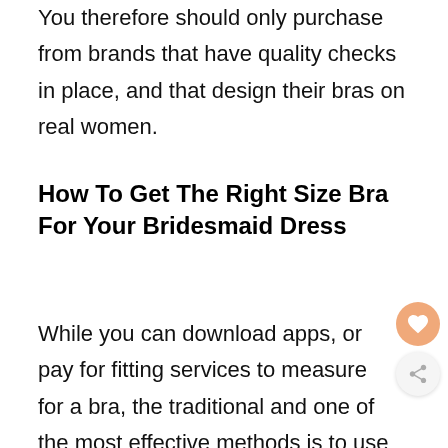You therefore should only purchase from brands that have quality checks in place, and that design their bras on real women.
How To Get The Right Size Bra For Your Bridesmaid Dress
While you can download apps, or pay for fitting services to measure for a bra, the traditional and one of the most effective methods is to use a